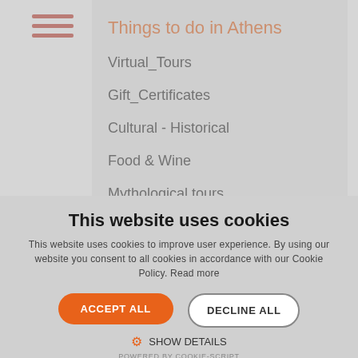[Figure (screenshot): Hamburger menu icon with three horizontal orange lines]
Things to do in Athens
Virtual_Tours
Gift_Certificates
Cultural - Historical
Food & Wine
Mythological tours
Cooking classes
This website uses cookies
This website uses cookies to improve user experience. By using our website you consent to all cookies in accordance with our Cookie Policy. Read more
ACCEPT ALL
DECLINE ALL
SHOW DETAILS
POWERED BY COOKIE-SCRIPT